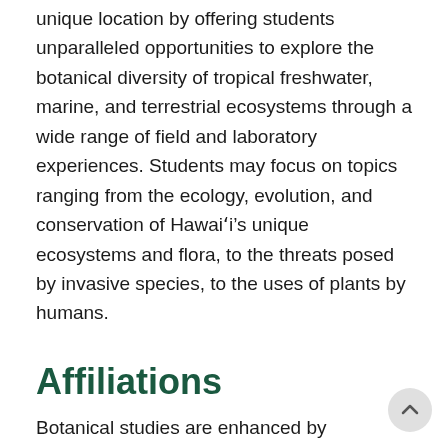unique location by offering students unparalleled opportunities to explore the botanical diversity of tropical freshwater, marine, and terrestrial ecosystems through a wide range of field and laboratory experiences. Students may focus on topics ranging from the ecology, evolution, and conservation of Hawai'i's unique ecosystems and flora, to the threats posed by invasive species, to the uses of plants by humans.
Affiliations
Botanical studies are enhanced by cooperative working relationships between the School of Life Sciences and Hawai'i Institute of Marine Biology, Harold L. Lyon Arboretum, Kewalo Marine Laboratory of the Pacil Biosciences Research Center, Pacific Cooperative